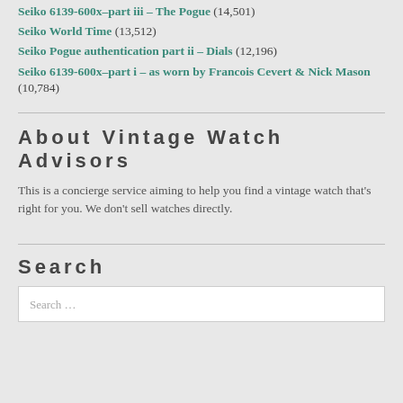Seiko 6139-600x–part iii – The Pogue (14,501)
Seiko World Time (13,512)
Seiko Pogue authentication part ii – Dials (12,196)
Seiko 6139-600x–part i – as worn by Francois Cevert & Nick Mason (10,784)
About Vintage Watch Advisors
This is a concierge service aiming to help you find a vintage watch that's right for you. We don't sell watches directly.
Search
Search …